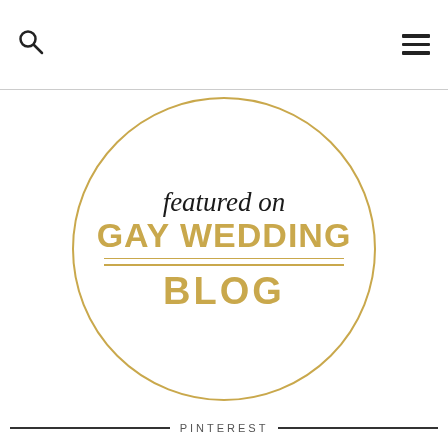search icon / menu icon
[Figure (logo): Featured on Gay Wedding Blog badge — a circular gold-bordered badge with script text 'featured on' in black and 'GAY WEDDING BLOG' in gold bold uppercase letters, separated by a double horizontal gold line.]
PINTEREST